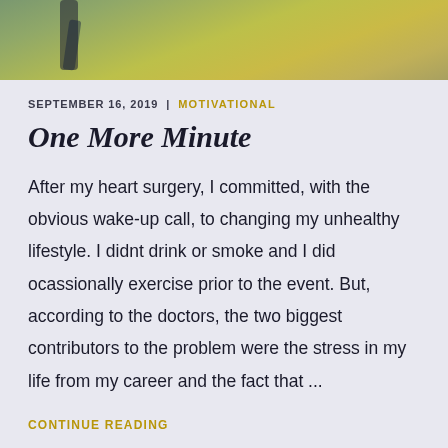[Figure (photo): Partial photo of a person running or walking on a path with golden/green fields in background, cropped at top]
SEPTEMBER 16, 2019  |  MOTIVATIONAL
One More Minute
After my heart surgery, I committed, with the obvious wake-up call, to changing my unhealthy lifestyle. I didnt drink or smoke and I did ocassionally exercise prior to the event. But, according to the doctors, the two biggest contributors to the problem were the stress in my life from my career and the fact that ...
CONTINUE READING